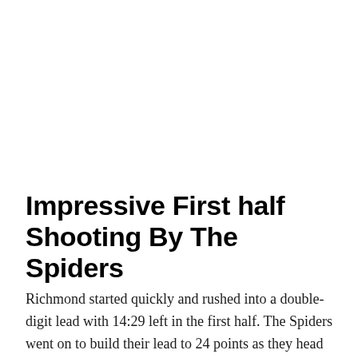Impressive First half Shooting By The Spiders
Richmond started quickly and rushed into a double-digit lead with 14:29 left in the first half. The Spiders went on to build their lead to 24 points as they head into the halftime break with a 45-21 advantage and